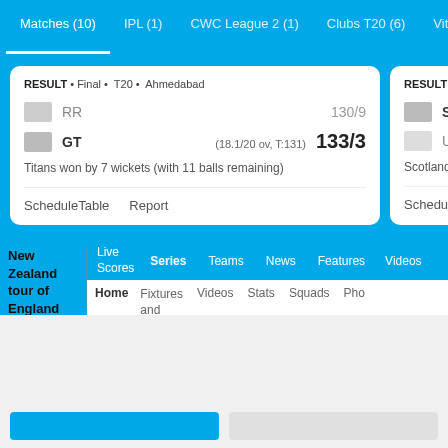Matches (10)  IPL (1)  CWC League 2 (1)  Clubs T20 (6)  Vitality Blast (2)
RESULT • Final • T20 • Ahmedabad
RR 130/9
GT (18.1/20 ov, T:131) 133/3
Titans won by 7 wickets (with 11 balls remaining)
ScheduleTable  Report
RESULT • 80th Match • O...
SCOT
USA
Scotland won by 111 runs
ScheduleTable
Live Scores  Series  Teams  News  Features  Videos
New Zealand tour of England 2022
Home  Fixtures and Results  Videos  Stats  Squads  Pho...